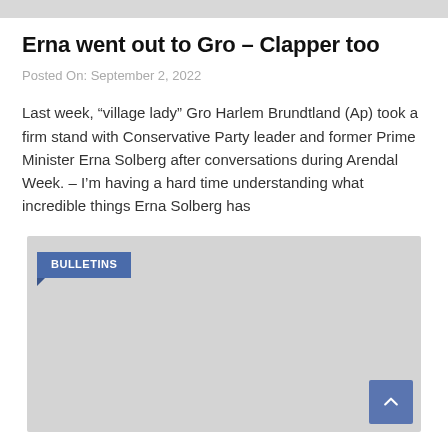Erna went out to Gro – Clapper too
Posted On: September 2, 2022
Last week, “village lady” Gro Harlem Brundtland (Ap) took a firm stand with Conservative Party leader and former Prime Minister Erna Solberg after conversations during Arendal Week. – I’m having a hard time understanding what incredible things Erna Solberg has
[Figure (other): Gray box image area with a blue 'BULLETINS' label tag in the top-left corner and a blue scroll-to-top button in the bottom-right corner.]